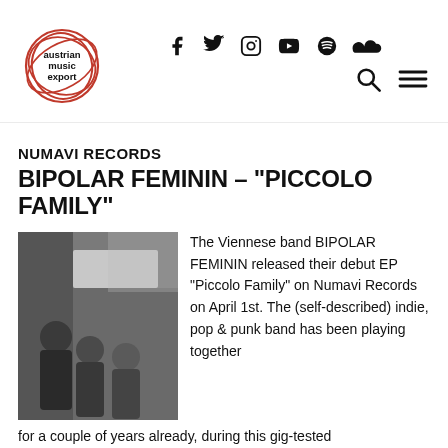austrian music export — navigation header with social icons
NUMAVI RECORDS
BIPOLAR FEMININ – “PICCOLO FAMILY”
[Figure (photo): Black and white photo of the Viennese band BIPOLAR FEMININ, showing members posing near a building wall]
The Viennese band BIPOLAR FEMININ released their debut EP “Piccolo Family” on Numavi Records on April 1st. The (self-described) indie, pop & punk band has been playing together for a couple of years already, during this gig-tested